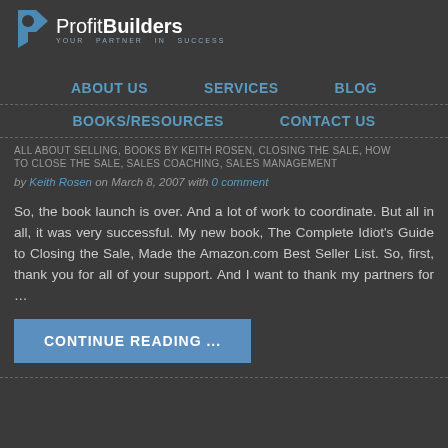[Figure (logo): Profit Builders logo with stylized 'p' icon and tagline 'YOUR PARTNER IN SUCCESS']
ABOUT US | SERVICES | BLOG | BOOKS/RESOURCES | CONTACT US
ALL ABOUT SELLING, BOOKS BY KEITH ROSEN, CLOSING THE SALE, HOW TO CLOSE THE SALE, SALES COACHING, SALES MANAGEMENT
by Keith Rosen on March 8, 2007 with 0 comment
So, the book launch is over. And a lot of work to coordinate. But all in all, it was very successful. My new book, The Complete Idiot's Guide to Closing the Sale, Made the Amazon.com Best Seller List. So, first, thank you for all of your support. And I want to thank my partners for …
CONTINUE READING ...